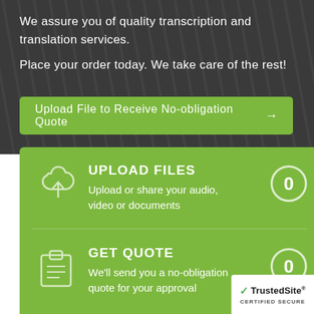We assure you of quality transcription and translation services.
Place your order today. We take care of the rest!
Upload File to Receive No-obligation Quote →
UPLOAD FILES
Upload or share your audio, video or documents
GET QUOTE
We'll send you a no-obligation quote for your approval
[Figure (logo): TrustedSite Certified Secure badge with green checkmark]